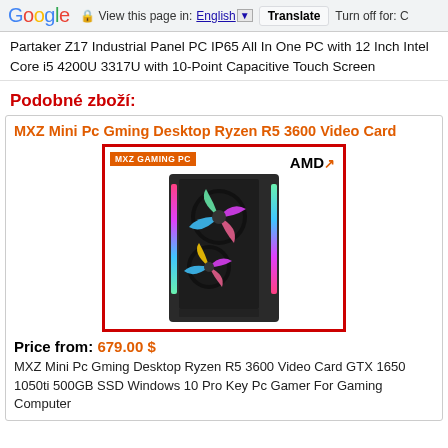Google   View this page in: English  Translate  Turn off for: C
Partaker Z17 Industrial Panel PC IP65 All In One PC with 12 Inch Intel Core i5 4200U 3317U with 10-Point Capacitive Touch Screen
Podobné zboží:
MXZ Mini Pc Gming Desktop Ryzen R5 3600 Video Card
[Figure (photo): MXZ Gaming PC desktop tower with RGB fans, AMD branding, transparent side panel showing colorful internal fans and components, red border frame around image]
Price from: 679.00 $
MXZ Mini Pc Gming Desktop Ryzen R5 3600 Video Card GTX 1650 1050ti 500GB SSD Windows 10 Pro Key Pc Gamer For Gaming Computer